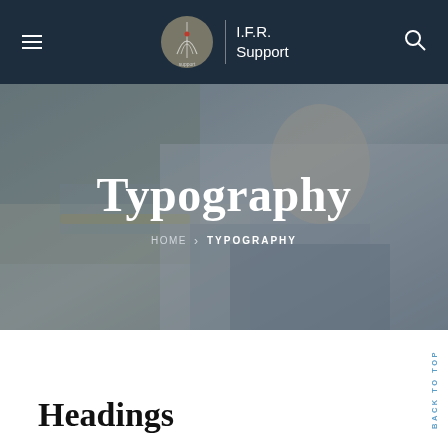I.F.R. Support
Typography
HOME > TYPOGRAPHY
Headings